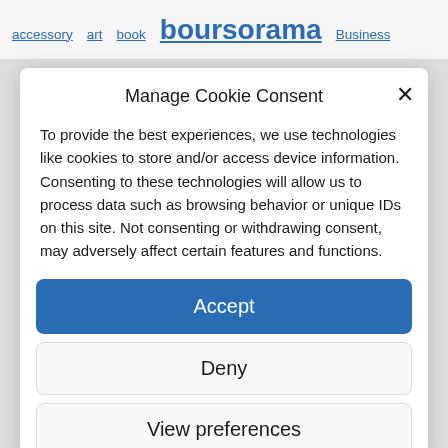accessory   art   book   boursorama   Business
Manage Cookie Consent
To provide the best experiences, we use technologies like cookies to store and/or access device information. Consenting to these technologies will allow us to process data such as browsing behavior or unique IDs on this site. Not consenting or withdrawing consent, may adversely affect certain features and functions.
Accept
Deny
View preferences